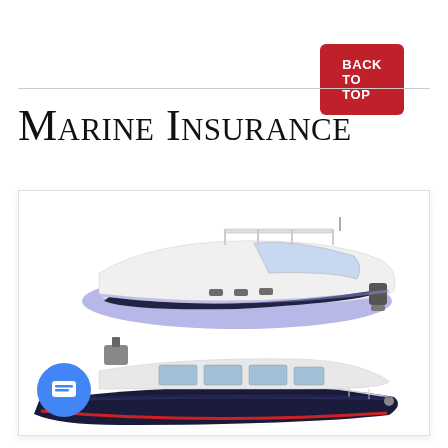BACK TO TOP
Marine Insurance
[Figure (photo): Two motorboats: top is a white and purple/blue hulled cabin cruiser; bottom is a dark navy blue boat with white cabin structure and red accent stripe.]